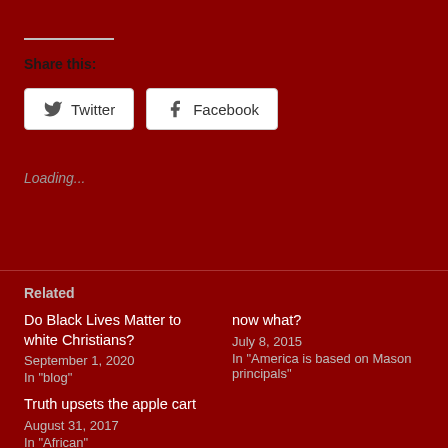Share this:
Twitter  Facebook
Loading...
Related
Do Black Lives Matter to white Christians?
September 1, 2020
In "blog"
now what?
July 8, 2015
In "America is based on Mason principals"
Truth upsets the apple cart
August 31, 2017
In "African"